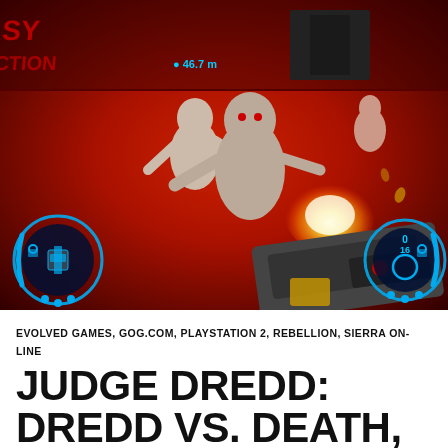[Figure (screenshot): A first-person shooter video game screenshot from Judge Dredd: Dredd vs. Death showing zombie enemies attacking the player, with a gun visible in the lower right, muzzle flash, blue HUD elements on left and right sides showing ammo/controls, and a distance indicator '46.7 m' at the top center. The environment has red-tinted walls.]
EVOLVED GAMES, GOG.COM, PLAYSTATION 2, REBELLION, SIERRA ONLINE
JUDGE DREDD: DREDD VS. DEATH, PLAYSTATION 2